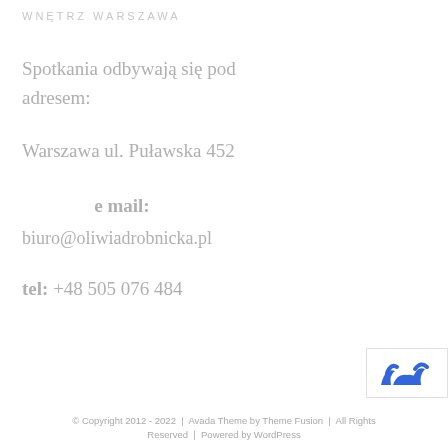WNĘTRZ WARSZAWA
Spotkania odbywają się pod adresem:
Warszawa ul. Puławska 452
e mail:
biuro@oliwiadrobnicka.pl
tel: +48 505 076 484
[Figure (logo): Blue animal logo badge in bottom right corner]
© Copyright 2012 - 2022  |  Avada Theme by Theme Fusion  |  All Rights Reserved  |  Powered by WordPress